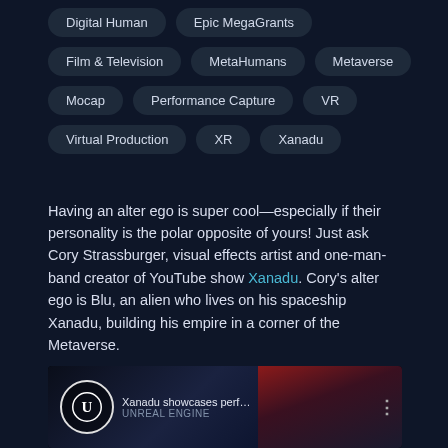Digital Human
Epic MegaGrants
Film & Television
MetaHumans
Metaverse
Mocap
Performance Capture
VR
Virtual Production
XR
Xanadu
Having an alter ego is super cool—especially if their personality is the polar opposite of yours! Just ask Cory Strassburger, visual effects artist and one-man-band creator of YouTube show Xanadu. Cory's alter ego is Blu, an alien who lives on his spaceship Xanadu, building his empire in a corner of the Metaverse.
[Figure (screenshot): Video thumbnail showing the Unreal Engine logo circle badge and title text 'Xanadu showcases performance-...' with a dark space-themed background on the left and a red-toned image on the right, and a three-dot menu icon.]